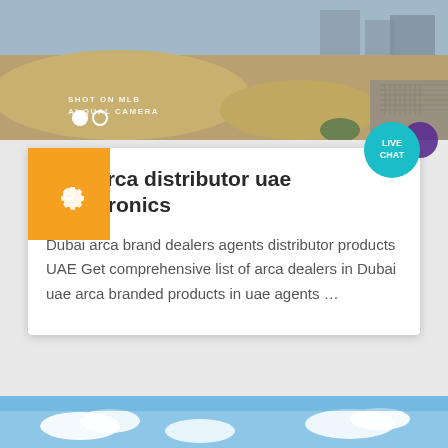[Figure (photo): Construction site photo with sand/dirt mounds and buildings in background, with 'SHOT ON MLB AI QUAL CAMERA' watermark and two circle indicators]
sbm arca distributor uae megatronics
Dubai arca brand dealers agents distributor products UAE Get comprehensive list of arca dealers in Dubai uae arca branded products in uae agents …
[Figure (photo): Sky photo with clouds, blue sky visible at bottom of page]